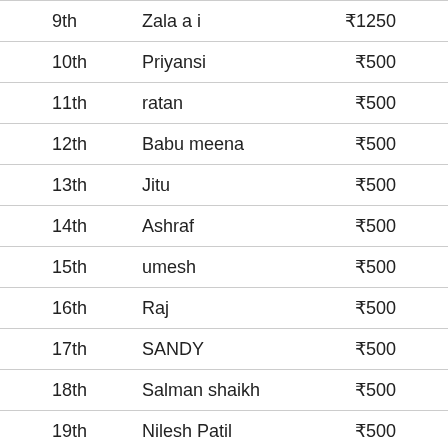| Rank | Name | Amount |
| --- | --- | --- |
| 9th | Zala a i | ₹1250 |
| 10th | Priyansi | ₹500 |
| 11th | ratan | ₹500 |
| 12th | Babu meena | ₹500 |
| 13th | Jitu | ₹500 |
| 14th | Ashraf | ₹500 |
| 15th | umesh | ₹500 |
| 16th | Raj | ₹500 |
| 17th | SANDY | ₹500 |
| 18th | Salman shaikh | ₹500 |
| 19th | Nilesh Patil | ₹500 |